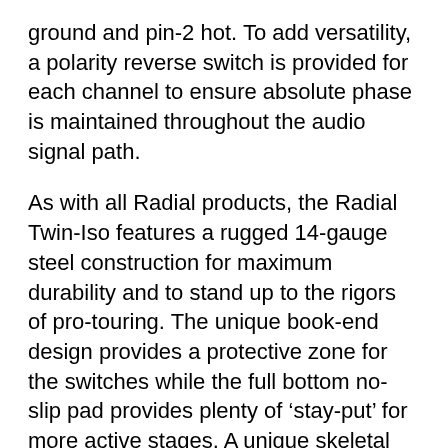ground and pin-2 hot. To add versatility, a polarity reverse switch is provided for each channel to ensure absolute phase is maintained throughout the audio signal path.
As with all Radial products, the Radial Twin-Iso features a rugged 14-gauge steel construction for maximum durability and to stand up to the rigors of pro-touring. The unique book-end design provides a protective zone for the switches while the full bottom no-slip pad provides plenty of 'stay-put' for more active stages. A unique skeletal design features welded I-beam construction, making it impossible to torque the internal PC board, reducing the opportunity for cold solder joints to develop due to outside stress. This unique design also permits up to eight Twin-Isos to be rack-mounted using the Radial J-Rak in just two 19″ rack spaces.